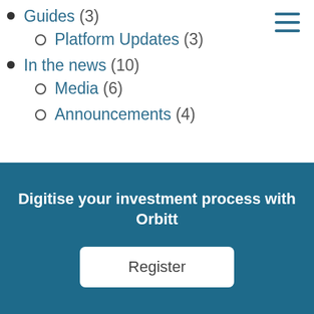Guides (3)
Platform Updates (3)
In the news (10)
Media (6)
Announcements (4)
Digitise your investment process with Orbitt
Register